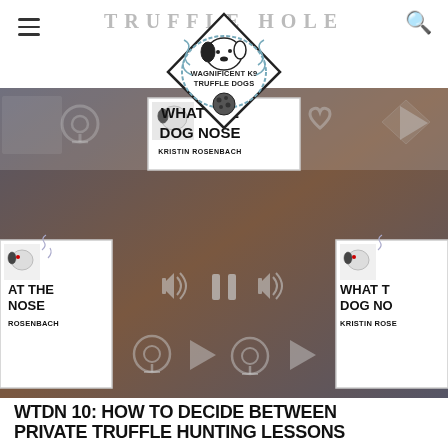TRUFFLE HOLE
[Figure (logo): Wagnificent K9 Truffle Dogs diamond-shaped logo with a dog and truffle ball illustration]
[Figure (screenshot): Podcast media player banner showing 'What the Dog Nose by Kristin Rosenbach' podcast artwork with playback controls, podcast icons, speaker icons, play/pause buttons, and multiple instances of the podcast cover art on a dark gradient background]
WTDN 10: HOW TO DECIDE BETWEEN PRIVATE TRUFFLE HUNTING LESSONS